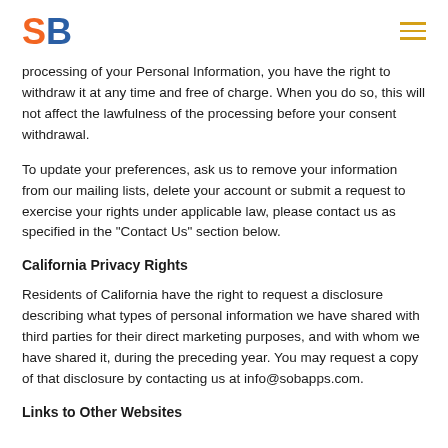SB
processing of your Personal Information, you have the right to withdraw it at any time and free of charge. When you do so, this will not affect the lawfulness of the processing before your consent withdrawal.
To update your preferences, ask us to remove your information from our mailing lists, delete your account or submit a request to exercise your rights under applicable law, please contact us as specified in the "Contact Us" section below.
California Privacy Rights
Residents of California have the right to request a disclosure describing what types of personal information we have shared with third parties for their direct marketing purposes, and with whom we have shared it, during the preceding year. You may request a copy of that disclosure by contacting us at info@sobapps.com.
Links to Other Websites